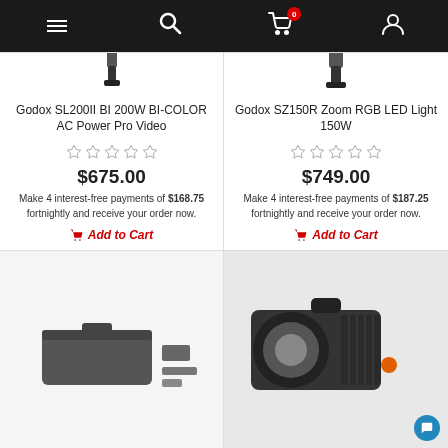Navigation bar with menu, search, cart (0), account icons
[Figure (photo): Godox SL200II BI product photo (top portion of light)]
Godox SL200II BI 200W BI-COLOR AC Power Pro Video
[Figure (other): 5 empty star rating icons]
$675.00
Make 4 interest-free payments of $168.75 fortnightly and receive your order now.
Add to Cart
[Figure (photo): Godox SZ150R Zoom RGB LED Light 150W product photo (top portion)]
Godox SZ150R Zoom RGB LED Light 150W
[Figure (other): 5 empty star rating icons]
$749.00
Make 4 interest-free payments of $187.25 fortnightly and receive your order now.
Add to Cart
[Figure (photo): Bottom left product photo showing a flat case and accessories]
[Figure (photo): Bottom right product photo showing a black LED video light with orange accent]